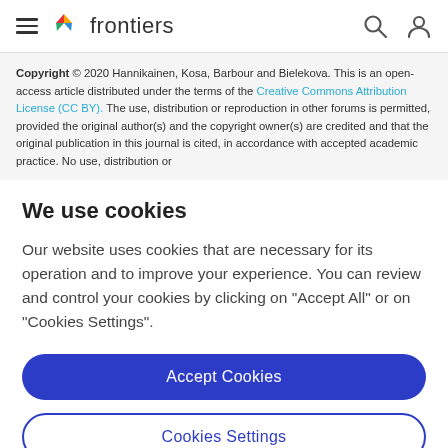frontiers
Copyright © 2020 Hannikainen, Kosa, Barbour and Bielekova. This is an open-access article distributed under the terms of the Creative Commons Attribution License (CC BY). The use, distribution or reproduction in other forums is permitted, provided the original author(s) and the copyright owner(s) are credited and that the original publication in this journal is cited, in accordance with accepted academic practice. No use, distribution or
We use cookies
Our website uses cookies that are necessary for its operation and to improve your experience. You can review and control your cookies by clicking on "Accept All" or on "Cookies Settings".
Accept Cookies
Cookies Settings